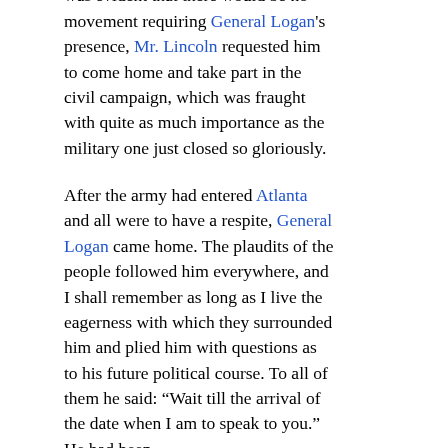siege and capture of Atlanta, and it was evident that there would be no movement requiring General Logan's presence, Mr. Lincoln requested him to come home and take part in the civil campaign, which was fraught with quite as much importance as the military one just closed so gloriously.
After the army had entered Atlanta and all were to have a respite, General Logan came home. The plaudits of the people followed him everywhere, and I shall remember as long as I live the eagerness with which they surrounded him and plied him with questions as to his future political course. To all of them he said: “Wait till the arrival of the date when I am to speak to you.” He had been